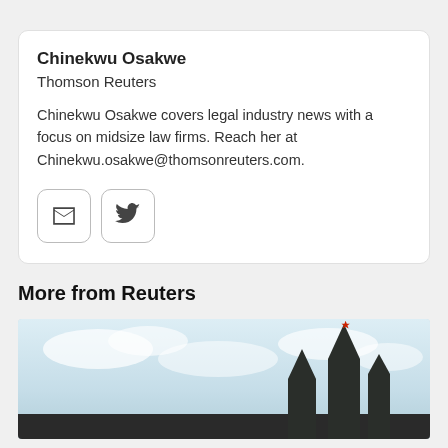Chinekwu Osakwe
Thomson Reuters
Chinekwu Osakwe covers legal industry news with a focus on midsize law firms. Reach her at Chinekwu.osakwe@thomsonreuters.com.
[Figure (other): Email icon button and Twitter bird icon button]
More from Reuters
[Figure (photo): Photo of Russian Kremlin towers against a cloudy sky]